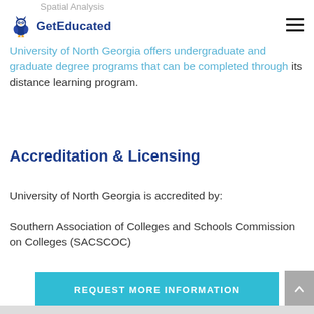Spatial Analysis
[Figure (logo): GetEducated logo with owl icon and text 'GetEducated']
University of North Georgia offers undergraduate and graduate degree programs that can be completed through its distance learning program.
Accreditation & Licensing
University of North Georgia is accredited by:
Southern Association of Colleges and Schools Commission on Colleges (SACSCOC)
REQUEST MORE INFORMATION